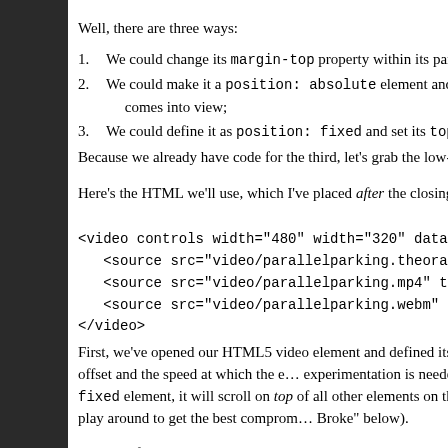Well, there are three ways:
We could change its margin-top property within its parent se…
We could make it a position: absolute element and chang… comes into view;
We could define it as position: fixed and set its top prope…
Because we already have code for the third, let's grab the low-hang…
Here's the HTML we'll use, which I've placed after the closing </ar…
<video controls width="480" width="320" data-type=…
    <source src="video/parallelparking.theora.ogv" t…
    <source src="video/parallelparking.mp4" type="vi…
    <source src="video/parallelparking.webm" type="v…
</video>
First, we've opened our HTML5 video element and defined its width… state, video, and defined our y offset and the speed at which the e… experimentation is needed here to make sure the video is positione… fixed element, it will scroll on top of all other elements on the page… screen resolution, but you can play around to get the best comprom… Broke" below).
The CSS for the video element looks like this: